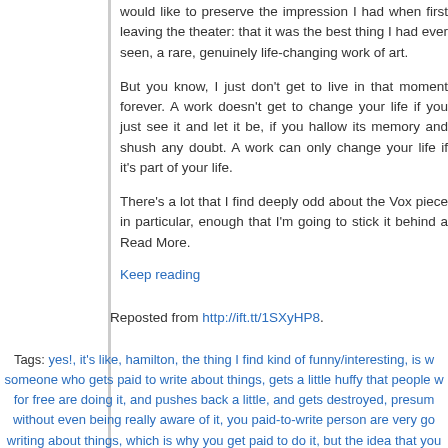would like to preserve the impression I had when first leaving the theater: that it was the best thing I had ever seen, a rare, genuinely life-changing work of art.
But you know, I just don't get to live in that moment forever. A work doesn't get to change your life if you just see it and let it be, if you hallow its memory and shush any doubt. A work can only change your life if it's part of your life.
There's a lot that I find deeply odd about the Vox piece in particular, enough that I'm going to stick it behind a Read More.
Keep reading
Reposted from http://ift.tt/1SXyHP8.
Tags: yes!, it's like, hamilton, the thing I find kind of funny/interesting, is when someone who gets paid to write about things, gets a little huffy that people who do it for free are doing it, and pushes back a little, and gets destroyed, presumably without even being really aware of it, you paid-to-write person are very good at writing about things, which is why you get paid to do it, but the idea that you occupy a position above any given person, who does not get paid to do it, that your analysis is always going to necessarily be superior, to theirs, is not a position that can survive scrutiny, the thing about the internet, including internet-enabled-fandom, is a technology that reduces to zero the distance between any two people, so you are, in effect, in the room where it happens, with everyone, your analysis may be clever and insightful, but given a sufficiently large room, you are not going to be the most clever, or the most insightful. Posted in Tumblr by jbc | Permalink | Comments »